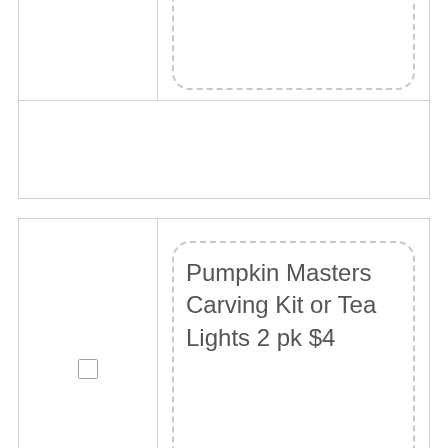(partial item at top — cut off)
Pumpkin Masters Carving Kit or Tea Lights 2 pk $4
Pumpkin Masters Gutting Tool $10